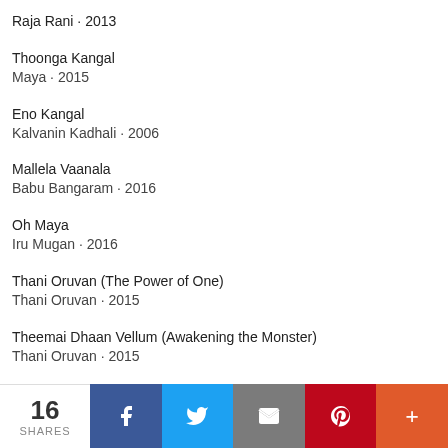Raja Rani · 2013
Thoonga Kangal
Maya · 2015
Eno Kangal
Kalvanin Kadhali · 2006
Mallela Vaanala
Babu Bangaram · 2016
Oh Maya
Iru Mugan · 2016
Thani Oruvan (The Power of One)
Thani Oruvan · 2015
Theemai Dhaan Vellum (Awakening the Monster)
Thani Oruvan · 2015
16 SHARES | Facebook | Twitter | Email | Pinterest | More